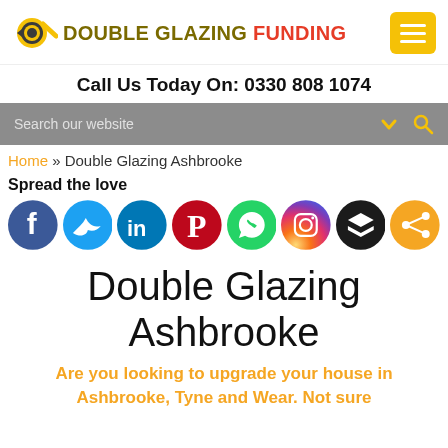Double Glazing Funding — Call Us Today On: 0330 808 1074
Search our website
Home » Double Glazing Ashbrooke
Spread the love
[Figure (infographic): Social media sharing icons: Facebook, Twitter, LinkedIn, Pinterest, WhatsApp, Instagram, Buffer, Share]
Double Glazing Ashbrooke
Are you looking to upgrade your house in Ashbrooke, Tyne and Wear. Not sure